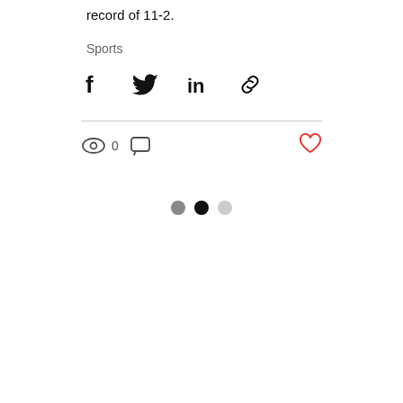record of 11-2.
Sports
[Figure (infographic): Social share icons: Facebook, Twitter, LinkedIn, Link]
[Figure (infographic): View count (eye icon + 0), comment icon, and heart/like button]
[Figure (infographic): Three navigation dots: gray, black, light gray]